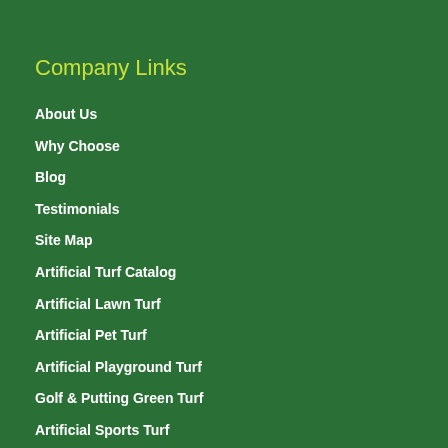Company Links
About Us
Why Choose
Blog
Testimonials
Site Map
Artificial Turf Catalog
Artificial Lawn Turf
Artificial Pet Turf
Artificial Playground Turf
Golf & Putting Green Turf
Artificial Sports Turf
Artificial Turf Installation Supplies
Product Materials
Product Installation